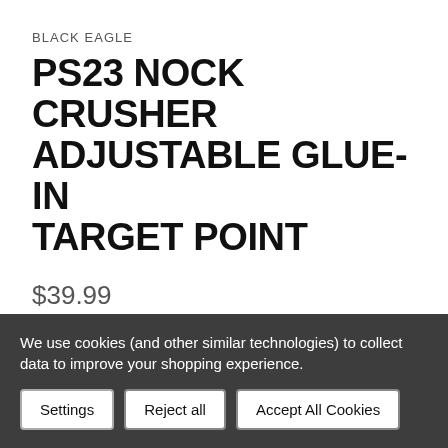BLACK EAGLE
PS23 NOCK CRUSHER ADJUSTABLE GLUE-IN TARGET POINT
$39.99
Quantity per pack 12
These stainless Steel Nock crusher points are glue-in points that take the BEA weights . They fit Challenger & PS23 shafts. These points are perfect for...
We use cookies (and other similar technologies) to collect data to improve your shopping experience.